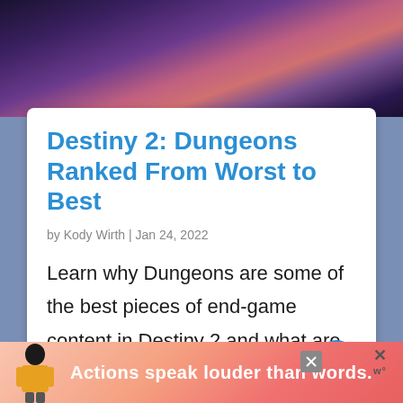[Figure (screenshot): Game screenshot showing a fantasy/sci-fi environment with purple and pink atmospheric lighting, floating structures]
Destiny 2: Dungeons Ranked From Worst to Best
by Kody Wirth | Jan 24, 2022
Learn why Dungeons are some of the best pieces of end-game content in Destiny 2 and what are rankings are for the four current Dungeons.
[Figure (illustration): Advertisement banner with text 'Actions speak louder than words.' with a figure in yellow jacket on coral/pink background]